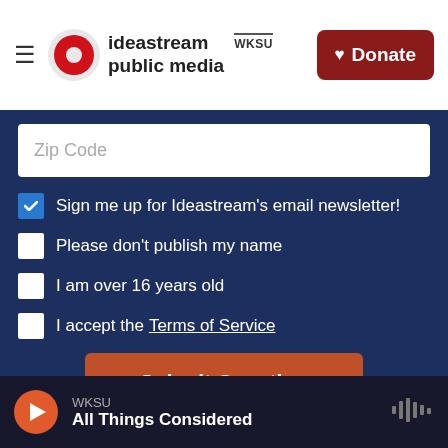ideastream public media WKSU | Donate
Zip Code
Sign me up for Ideastream's email newsletter!
Please don't publish my name
I am over 16 years old
I accept the Terms of Service
Submit Question
This project is part of America Amplified.
Powered by Hearken | Terms of Service | Privacy Policy
WKSU All Things Considered